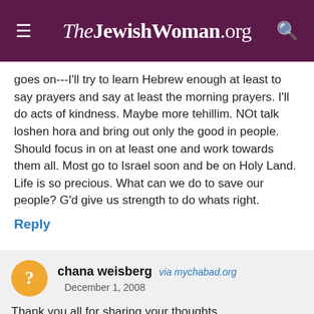TheJewishWoman.org
goes on---I'll try to learn Hebrew enough at least to say prayers and say at least the morning prayers. I'll do acts of kindness. Maybe more tehillim. NOt talk loshen hora and bring out only the good in people. Should focus in on at least one and work towards them all. Most go to Israel soon and be on Holy Land. Life is so precious. What can we do to save our people? G'd give us strength to do whats right.
Reply
chana weisberg via mychabad.org December 1, 2008
Thank you all for sharing your thoughts.
We are in a time of pain and now is the time for all of us to join together and be united, to share and strengthen one another.